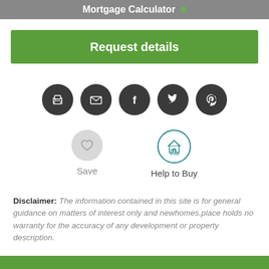Mortgage Calculator
Request details
[Figure (other): Row of five dark circular social share icons: print, email, Facebook, Twitter, Pinterest]
[Figure (other): Save icon (heart in grey circle) labeled 'Save' and Help to Buy icon (circular logo) labeled 'Help to Buy']
Disclaimer: The information contained in this site is for general guidance on matters of interest only and newhomes.place holds no warranty for the accuracy of any development or property description.